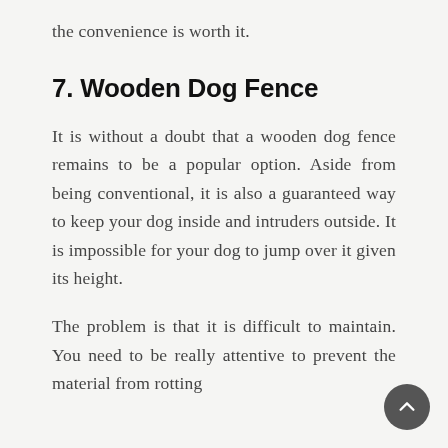the convenience is worth it.
7. Wooden Dog Fence
It is without a doubt that a wooden dog fence remains to be a popular option. Aside from being conventional, it is also a guaranteed way to keep your dog inside and intruders outside. It is impossible for your dog to jump over it given its height.
The problem is that it is difficult to maintain. You need to be really attentive to prevent the material from rotting